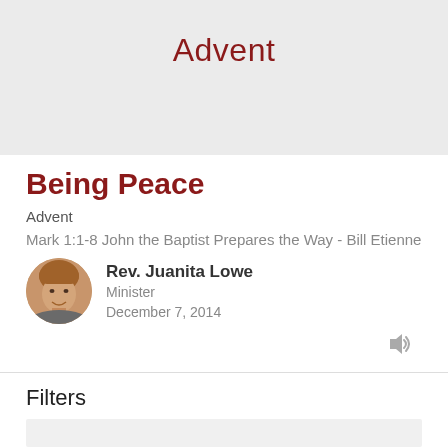[Figure (illustration): Light grey banner area with the word 'Advent' in dark red centered text]
Being Peace
Advent
Mark 1:1-8 John the Baptist Prepares the Way - Bill Etienne
Rev. Juanita Lowe
Minister
December 7, 2014
Filters